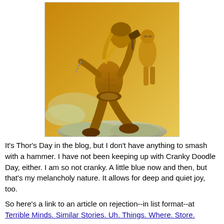[Figure (illustration): Classical fantasy oil painting of a muscular golden warrior (Thor-like figure) wielding a hammer, crouching on rocks with long blonde hair, wearing minimal golden armor. A second golden figure stands in the background against a warm amber/golden sky with clouds.]
It's Thor's Day in the blog, but I don't have anything to smash with a hammer. I have not been keeping up with Cranky Doodle Day, either. I am so not cranky. A little blue now and then, but that's my melancholy nature. It allows for deep and quiet joy, too.
So here's a link to an article on rejection--in list format--at [link text cut off]